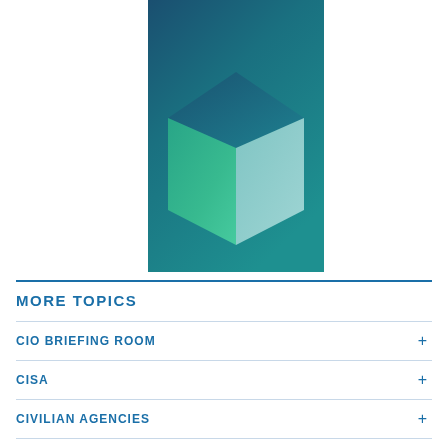[Figure (illustration): 3D cube graphic with gradient coloring — teal/blue top face, green-teal left face, light teal right face, on white background]
MORE TOPICS
CIO BRIEFING ROOM +
CISA +
CIVILIAN AGENCIES +
CONGRESS +
DEFENSE & INTELLIGENCE +